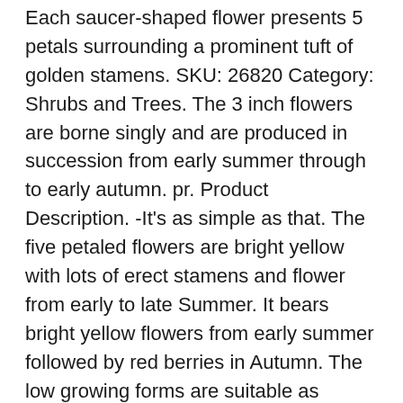Each saucer-shaped flower presents 5 petals surrounding a prominent tuft of golden stamens. SKU: 26820 Category: Shrubs and Trees. The 3 inch flowers are borne singly and are produced in succession from early summer through to early autumn. pr. Product Description. -It's as simple as that. The five petaled flowers are bright yellow with lots of erect stamens and flower from early to late Summer. It bears bright yellow flowers from early summer followed by red berries in Autumn. The low growing forms are suitable as ground cover. Hypericum 'Miracle Summer' quantity. Tutsan was used as a medicinal herbal wound plant, and is related to St. John's Wort. It matures to an average height of 2 feet to 3 feet and an average width of 2 feet to 3 feet, depending on … The Hypericum, of the St. John's wort genus, is a garden plant which changes its looks. They also make for superb groundcover and are great for